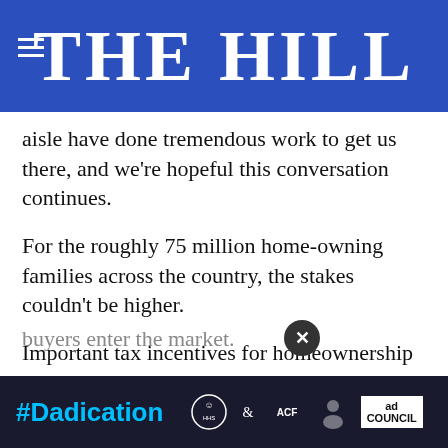THE HILL
aisle have done tremendous work to get us there, and we're hopeful this conversation continues.
For the roughly 75 million home-owning families across the country, the stakes couldn't be higher.
Important tax incentives for homeownership and real estate investment like the mortgage interest deduction, state and local property tax deduction, and 1031 like-kind exchange are critical. They help protect and grow home values, support... buyers enter the market.
[Figure (screenshot): Advertisement banner at bottom: #Dadication with HHS ACF logo, National Responsible Fatherhood Clearinghouse logo, and Ad Council logo on dark background. Close button (X) overlaid on the article text.]